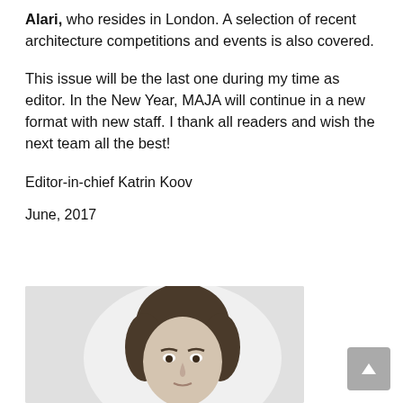Alari, who resides in London. A selection of recent architecture competitions and events is also covered.
This issue will be the last one during my time as editor. In the New Year, MAJA will continue in a new format with new staff. I thank all readers and wish the next team all the best!
Editor-in-chief Katrin Koov
June, 2017
[Figure (photo): Black and white portrait photo of a person with short dark hair, face visible from forehead to chin, light background.]